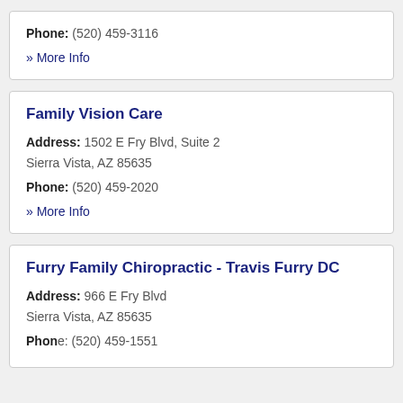Phone: (520) 459-3116
» More Info
Family Vision Care
Address: 1502 E Fry Blvd, Suite 2 Sierra Vista, AZ 85635
Phone: (520) 459-2020
» More Info
Furry Family Chiropractic - Travis Furry DC
Address: 966 E Fry Blvd Sierra Vista, AZ 85635
Phone: (520) 459-1551